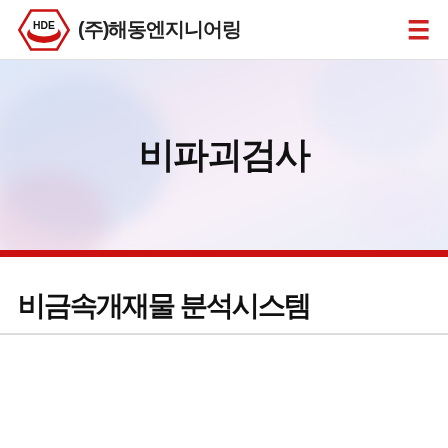[Figure (logo): HDE (주)해동엔지니어링 company logo with navigation hamburger menu]
[Figure (photo): Hero banner with blurred light blue/pink background and Korean text 비파괴검사 (Non-destructive testing) in bold black]
비금속개재물 분석시스템